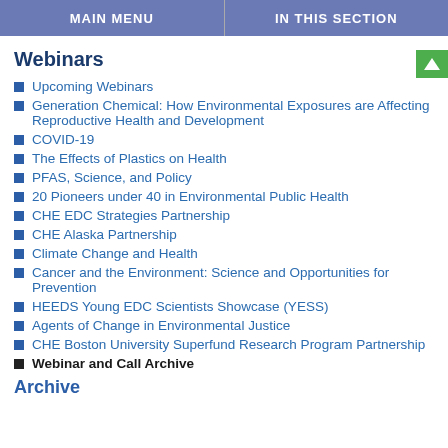MAIN MENU | IN THIS SECTION
Webinars
Upcoming Webinars
Generation Chemical: How Environmental Exposures are Affecting Reproductive Health and Development
COVID-19
The Effects of Plastics on Health
PFAS, Science, and Policy
20 Pioneers under 40 in Environmental Public Health
CHE EDC Strategies Partnership
CHE Alaska Partnership
Climate Change and Health
Cancer and the Environment: Science and Opportunities for Prevention
HEEDS Young EDC Scientists Showcase (YESS)
Agents of Change in Environmental Justice
CHE Boston University Superfund Research Program Partnership
Webinar and Call Archive
Archive